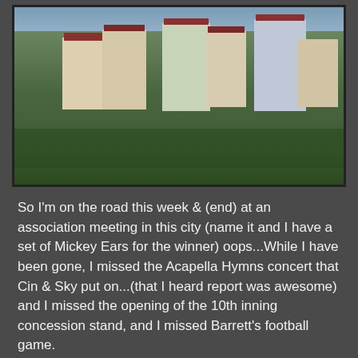[Figure (photo): Aerial view of a city with multi-story resort/hotel buildings surrounded by dense green trees, taken from an elevated angle. Buildings appear to be in a resort area with colorful rooftops.]
So I'm on the road this week & (end) at an association meeting in this city (name it and I have a set of Mickey Ears for the winner) oops...While I have been gone, I missed the Acapella Hymns concert that Cin & Sky put on...(that I heard report was awesome) and I missed the opening of the 10th inning concession stand, and I missed Barrett's football game.
However I met a few interesting people, helped spread the gospel of DMP. I also talked to a few people about blogging...
I have about a half dozen things to catch up on, on the blog...which I intend to try to do over the nex week. I may